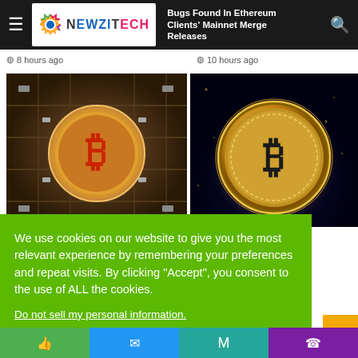NewziTech — navigation bar with hamburger menu, logo, and search icon
Bugs Found In Ethereum Clients' Mainnet Merge Releases
8 hours ago
10 hours ago
[Figure (photo): Bitcoin coin on circuit board background]
[Figure (photo): Golden Bitcoin coin on dark background with glowing light]
ature Enough To ion Hedge"
We use cookies on our website to give you the most relevant experience by remembering your preferences and repeat visits. By clicking "Accept", you consent to the use of ALL the cookies.
Do not sell my personal information.
Cookie settings
ACCEPT
Bottom navigation bar with social/contact icons